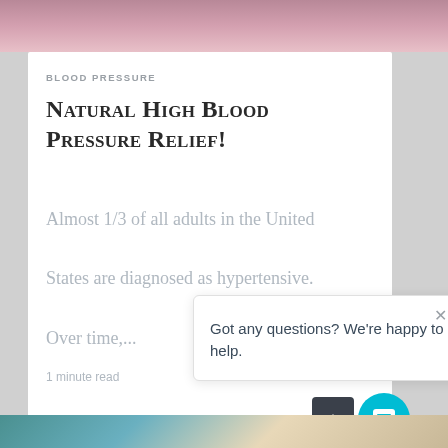[Figure (photo): Top portion of a person's image, partially cropped, with pink/mauve tones — article header image]
BLOOD PRESSURE
Natural High Blood Pressure Relief!
Almost 1/3 of all adults in the United States are diagnosed as hypertensive. Over time,...
1 minute read
Got any questions? We're happy to help.
[Figure (photo): Bottom portion of another article image, partially visible at page bottom]